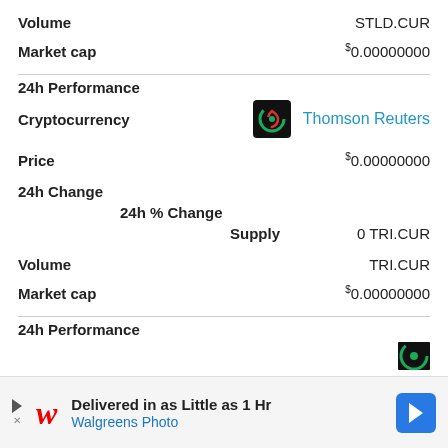Volume	STLD.CUR
Market cap	$0.00000000
24h Performance
Cryptocurrency	Thomson Reuters
Price	$0.00000000
24h Change
24h % Change
Supply	0 TRI.CUR
Volume	TRI.CUR
Market cap	$0.00000000
24h Performance
[Figure (logo): Thomson Reuters logo — circular green/red arrow icon on black background]
[Figure (logo): Thomson Reuters logo partially visible at bottom]
[Figure (other): Walgreens Photo advertisement banner — Delivered in as Little as 1 Hr]